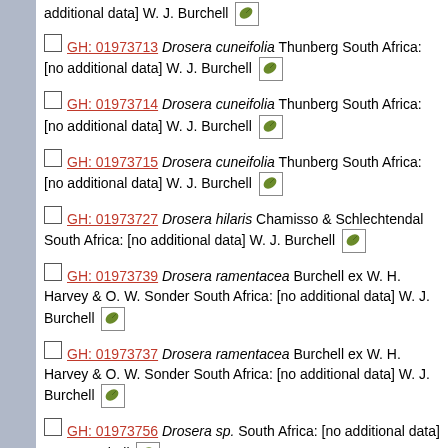GH: 01973713 Drosera cuneifolia Thunberg South Africa: [no additional data] W. J. Burchell
GH: 01973714 Drosera cuneifolia Thunberg South Africa: [no additional data] W. J. Burchell
GH: 01973715 Drosera cuneifolia Thunberg South Africa: [no additional data] W. J. Burchell
GH: 01973727 Drosera hilaris Chamisso & Schlechtendal South Africa: [no additional data] W. J. Burchell
GH: 01973739 Drosera ramentacea Burchell ex W. H. Harvey & O. W. Sonder South Africa: [no additional data] W. J. Burchell
GH: 01973737 Drosera ramentacea Burchell ex W. H. Harvey & O. W. Sonder South Africa: [no additional data] W. J. Burchell
GH: 01973756 Drosera sp. South Africa: [no additional data] W. J. Burchell
GH: 01973110 Drosera villosa A. St.-Hilaire Brazil: [no additional data] W. J. Burchell 3655 1826-12-22